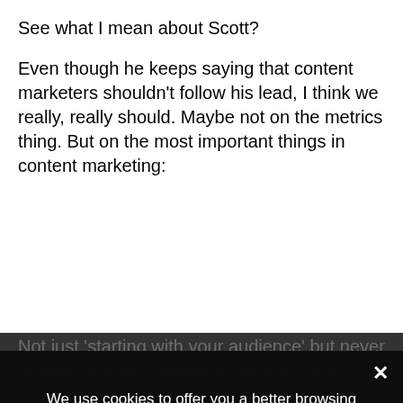See what I mean about Scott?
Even though he keeps saying that content marketers shouldn't follow his lead, I think we really, really should. Maybe not on the metrics thing. But on the most important things in content marketing:
Not just 'starting with your audience' but never drifting from the mission of serving them.
Putting the bulk of your time, budget and energy into one simple thing: creating content people value.
Following what you love. Make genuine curiosity be your guide.
Simply facilitating conversations in your marketplace is a worthy goal. You don't have to dominate those conversations.
Being (and staying) humble — it's an outward expression of your true mission.
We use cookies to offer you a better browsing experience, analyze site traffic, personalize content, and serve targeted advertisements. Read about how we use cookies and how you can control them by clicking "Privacy Preferences". If you continue to use this site, you consent to our use of cookies.
Privacy Preferences
I Agree